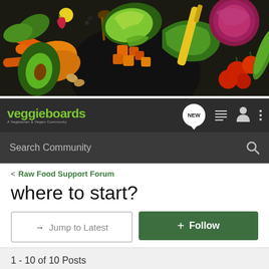[Figure (photo): Hero banner image showing colorful vegetables including avocado, carrots, tomatoes, onions, peppers, greens arranged on a dark background]
veggieboards - A Vegetarian & Vegan Community - NEW - Search Community
< Raw Food Support Forum
where to start?
→ Jump to Latest   + Follow
1 - 10 of 10 Posts
CarlaVeg · Registered
Joined Nov 17, 2005 · 234 Posts